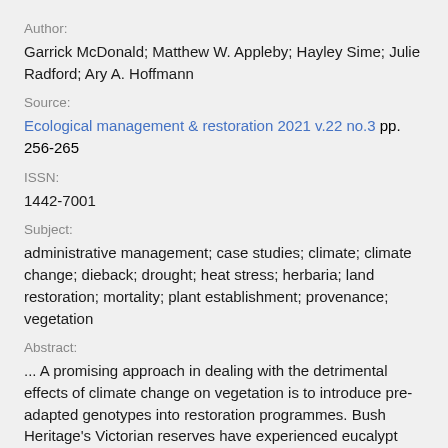Author:
Garrick McDonald; Matthew W. Appleby; Hayley Sime; Julie Radford; Ary A. Hoffmann
Source:
Ecological management & restoration 2021 v.22 no.3 pp. 256-265
ISSN:
1442-7001
Subject:
administrative management; case studies; climate; climate change; dieback; drought; heat stress; herbaria; land restoration; mortality; plant establishment; provenance; vegetation
Abstract:
... A promising approach in dealing with the detrimental effects of climate change on vegetation is to introduce pre-adapted genotypes into restoration programmes. Bush Heritage's Victorian reserves have experienced eucalypt dieback probably due to intense drought and heat shock